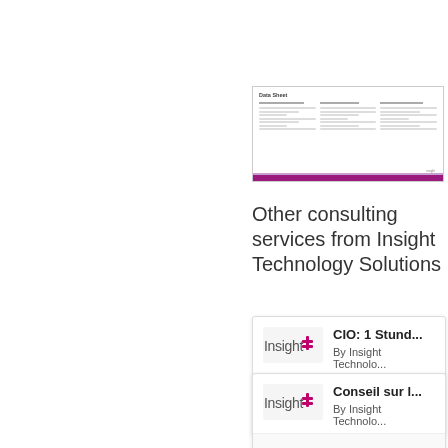[Figure (screenshot): Thumbnail preview of a document page with columns of text and a purple/magenta bar at the bottom]
Other consulting services from Insight Technology Solutions
[Figure (screenshot): Card showing Insight Technology logo with title 'CIO: 1 Stund...' and subtitle 'By Insight Technolo...']
[Figure (screenshot): Card showing Insight Technology logo with title 'Conseil sur l...' and subtitle 'By Insight Technolo...']